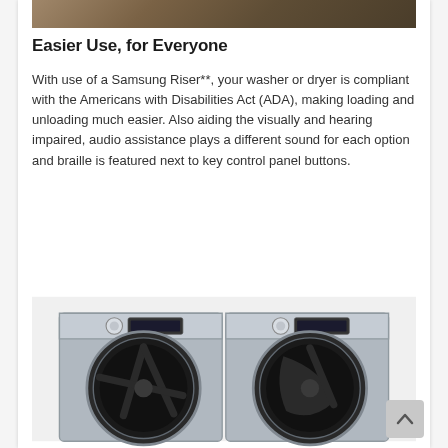[Figure (photo): Top portion of a photo showing a person near Samsung appliances, brown/wood tones visible]
Easier Use, for Everyone
With use of a Samsung Riser**, your washer or dryer is compliant with the Americans with Disabilities Act (ADA), making loading and unloading much easier. Also aiding the visually and hearing impaired, audio assistance plays a different sound for each option and braille is featured next to key control panel buttons.
[Figure (photo): Samsung front-load washer and dryer pair in platinum/silver finish, side by side, with circular doors and control panels on top]